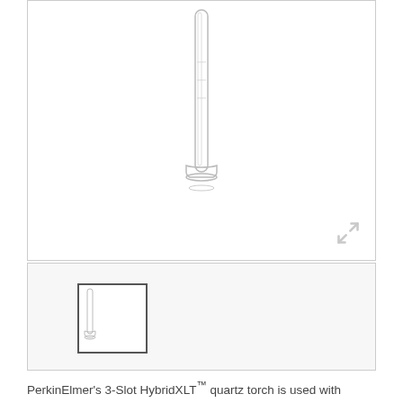[Figure (photo): A quartz ICP torch tube shown vertically, transparent glass with narrow top and wider bottom flange, on white background. Expand icon visible in bottom right corner.]
[Figure (photo): Thumbnail image of the same quartz torch, small preview in a bordered box.]
PerkinElmer's 3-Slot HybridXLT™ quartz torch is used with Optima® 8x00 ICP-OES series instruments. This torch has an extended lifetime compared to the standard quartz torch in order to increase